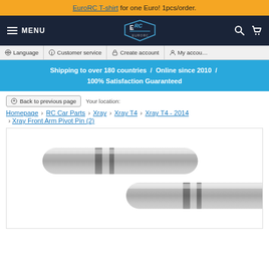EuroRC T-shirt for one Euro! 1pcs/order.
[Figure (screenshot): EuroRC website navigation bar with hamburger menu, MENU text, EuroRC logo, search icon, and cart icon on dark navy background]
Language | Customer service | Create account | My account
Shipping to over 180 countries / Online since 2010 / 100% Satisfaction Guaranteed
Back to previous page   Your location:
Homepage > RC Car Parts > Xray > Xray T4 > Xray T4 - 2014 > Xray Front Arm Pivot Pin (2)
[Figure (photo): Two metallic cylindrical pivot pins side by side on white background, showing grooved sections]